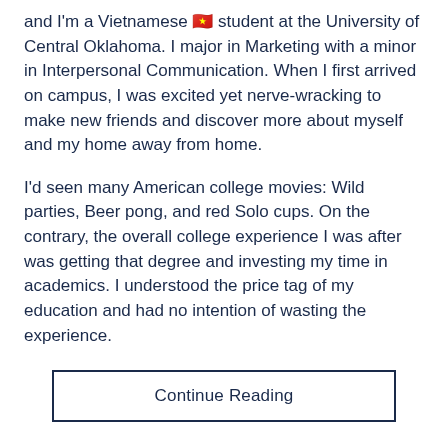and I'm a Vietnamese 🇻🇳 student at the University of Central Oklahoma. I major in Marketing with a minor in Interpersonal Communication. When I first arrived on campus, I was excited yet nerve-wracking to make new friends and discover more about myself and my home away from home.
I'd seen many American college movies: Wild parties, Beer pong, and red Solo cups. On the contrary, the overall college experience I was after was getting that degree and investing my time in academics. I understood the price tag of my education and had no intention of wasting the experience.
Continue Reading